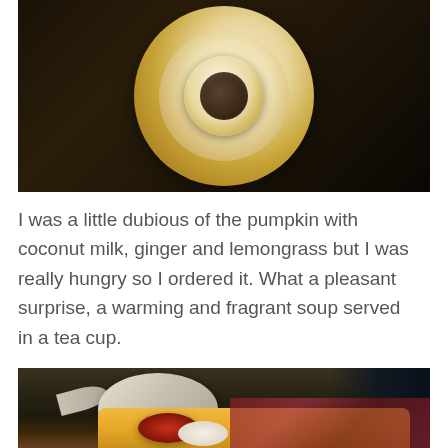[Figure (photo): Overhead view of a floral-patterned china tea cup and saucer with gold rim, photographed from above on a dark background.]
I was a little dubious of the pumpkin with coconut milk, ginger and lemongrass but I was really hungry so I ordered it. What a pleasant surprise, a warming and fragrant soup served in a tea cup.
[Figure (photo): Close-up photo of a tea setting with a white teapot, scone with jam and cream on a decorative tablecloth, with teacup and saucer in the background.]